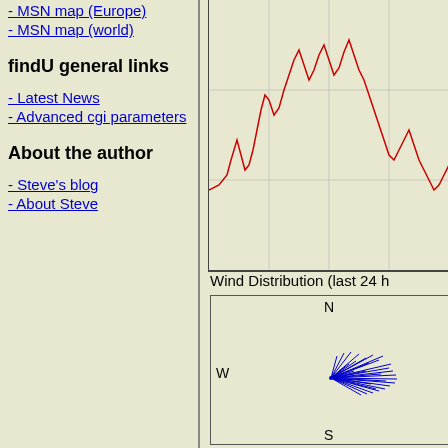- MSN map (Europe)
- MSN map (world)
findU general links
- Latest News
- Advanced cgi parameters
About the author
- Steve's blog
- About Steve
[Figure (continuous-plot): Red line graph showing irregular time-series data, partially visible at top right]
Wind Distribution (last 24 h
[Figure (other): Wind distribution compass rose showing blue wind vectors radiating primarily toward the east/northeast, with N, W, S compass labels]